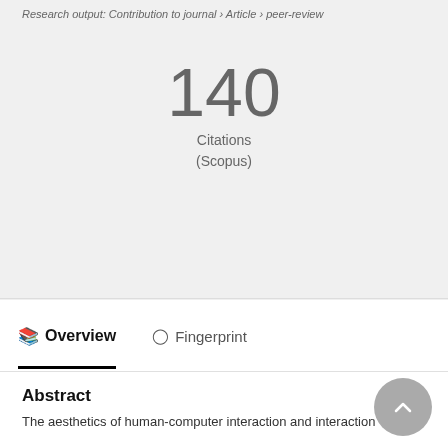Research output: Contribution to journal › Article › peer-review
140
Citations
(Scopus)
Overview   Fingerprint
Abstract
The aesthetics of human-computer interaction and interaction